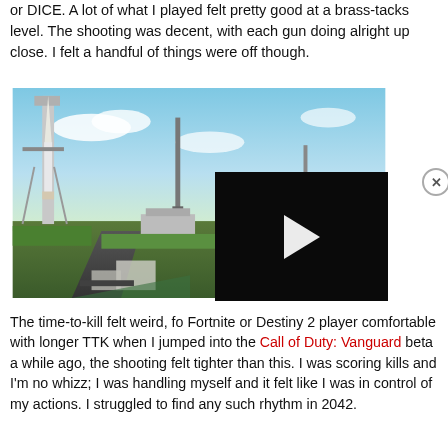or DICE. A lot of what I played felt pretty good at a brass-tacks level. The shooting was decent, with each gun doing alright up close. I felt a handful of things were off though.
[Figure (screenshot): Battlefield 2042 gameplay screenshot showing a launch pad with a rocket, industrial towers, and a soldier in the foreground against a blue sky. A video player overlay appears in the bottom-right with a play button on a black background.]
The time-to-kill felt weird, for me coming from Fortnite or Destiny 2 players who are more comfortable with longer TTK— but honestly, when I jumped into the Call of Duty: Vanguard beta a while ago, the shooting felt tighter than this. I was scoring kills and I'm no whizz; I was handling myself and it felt like I was in control of my actions. I struggled to find any such rhythm in 2042.